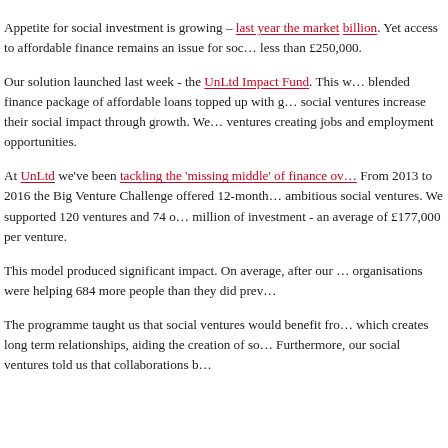Appetite for social investment is growing – last year the market [reached £1.5] billion. Yet access to affordable finance remains an issue for social ventures seeking less than £250,000.
Our solution launched last week - the UnLtd Impact Fund. This [offers a] blended finance package of affordable loans topped up with grants to help social ventures increase their social impact through growth. We [focus on] ventures creating jobs and employment opportunities.
At UnLtd we've been tackling the 'missing middle' of finance over [many years]. From 2013 to 2016 the Big Venture Challenge offered 12-month [support] to ambitious social ventures. We supported 120 ventures and 74 of [them raised] £13 million of investment - an average of £177,000 per venture.
This model produced significant impact. On average, after our [programme,] organisations were helping 684 more people than they did previously.
The programme taught us that social ventures would benefit from [an approach] which creates long term relationships, aiding the creation of social [impact.] Furthermore, our social ventures told us that collaborations [between...]